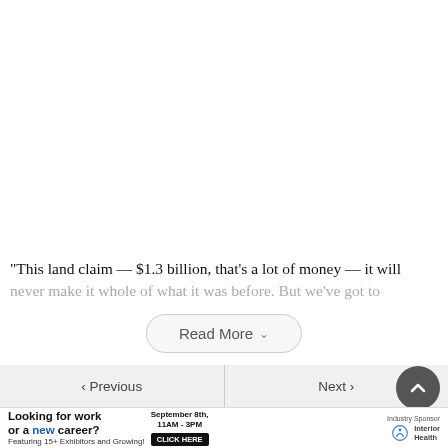“This land claim — $1.3 billion, that’s a lot of money — it will never make it whole of what it was before. But we’ve got to
Read More
[Figure (other): Navigation bar with Previous and Next buttons, and a back-to-top circular button]
[Figure (other): Advertisement banner: Looking for work or a new career? September 8th, 11AM - 3PM. Featuring 15+ Exhibitors and Growing! CLICK HERE. Industry Sponsor: Interior Health logo.]